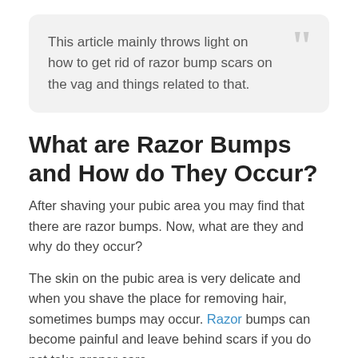This article mainly throws light on how to get rid of razor bump scars on the vag and things related to that.
What are Razor Bumps and How do They Occur?
After shaving your pubic area you may find that there are razor bumps. Now, what are they and why do they occur?
The skin on the pubic area is very delicate and when you shave the place for removing hair, sometimes bumps may occur. Razor bumps can become painful and leave behind scars if you do not take proper care...